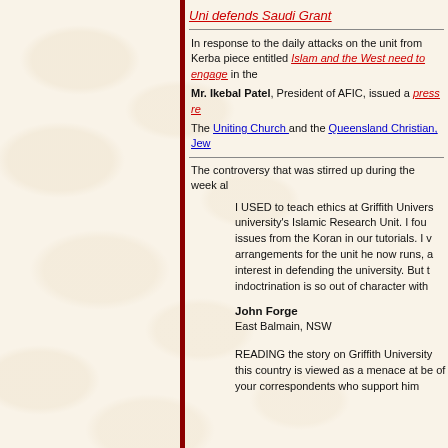Uni defends Saudi Grant
In response to the daily attacks on the unit from Kerba piece entitled Islam and the West need to engage in the
Mr. Ikebal Patel, President of AFIC, issued a press re
The Uniting Church and the Queensland Christian, Jew
The controversy that was stirred up during the week al
I USED to teach ethics at Griffith Univers university's Islamic Research Unit. I fou issues from the Koran in our tutorials. I arrangements for the unit he now runs, interest in defending the university. But indoctrination is so out of character with
John Forge
East Balmain, NSW
READING the story on Griffith University this country is viewed as a menace at be of your correspondents who support him